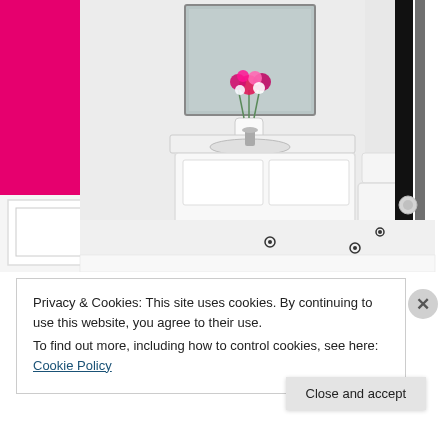[Figure (photo): Interior photo of a stylish bathroom with hot pink walls on the left, white wainscoting panels, a white vanity with ornate carved details and sink, a mirror, pink flowers in a vase, a toilet, black and white striped wall on the right, and white hexagonal tile floor with black floral accents.]
Privacy & Cookies: This site uses cookies. By continuing to use this website, you agree to their use.
To find out more, including how to control cookies, see here: Cookie Policy